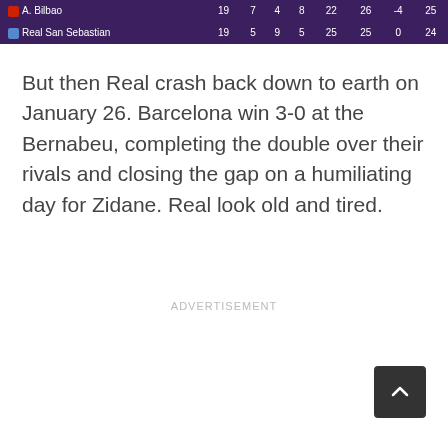| Team | GP | W | L | GF | GA | GD | Pts |
| --- | --- | --- | --- | --- | --- | --- | --- |
| A. Bilbao | 19 | 7 | 4 | 8 | 22 | 26 | -4 | 25 |
| Real San Sebastian | 19 | 5 | 9 | 5 | 25 | 25 | 0 | 24 |
But then Real crash back down to earth on January 26. Barcelona win 3-0 at the Bernabeu, completing the double over their rivals and closing the gap on a humiliating day for Zidane. Real look old and tired.
ADVERTISEMENT